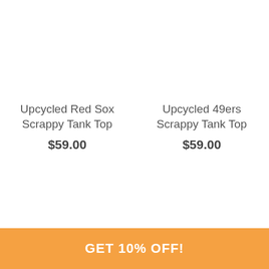Upcycled Red Sox Scrappy Tank Top
$59.00
Upcycled 49ers Scrappy Tank Top
$59.00
GET 10% OFF!